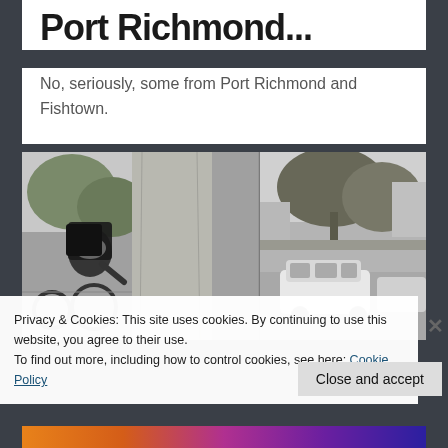Port Richmond...
No, seriously, some from Port Richmond and Fishtown.
[Figure (photo): Black and white diptych photograph: left side shows a bicycle courier/delivery person wearing a helmet and large backpack leaning against a concrete pillar; right side shows an outdoor scene with trees and a white SUV parked on a street.]
Privacy & Cookies: This site uses cookies. By continuing to use this website, you agree to their use.
To find out more, including how to control cookies, see here: Cookie Policy
Close and accept